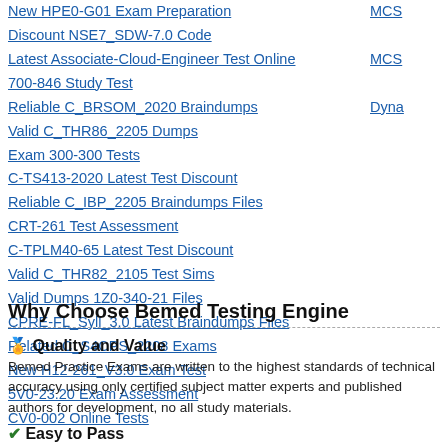New HPE0-G01 Exam Preparation
Discount NSE7_SDW-7.0 Code
Latest Associate-Cloud-Engineer Test Online
700-846 Study Test
Reliable C_BRSOM_2020 Braindumps
Valid C_THR86_2205 Dumps
Exam 300-300 Tests
C-TS413-2020 Latest Test Discount
Reliable C_IBP_2205 Braindumps Files
CRT-261 Test Assessment
C-TPLM40-65 Latest Test Discount
Valid C_THR82_2105 Test Sims
Valid Dumps 1Z0-340-21 Files
CPRE-FL_Syll_3.0 Latest Braindumps Files
Related C_S4CPS_2208 Exams
New H12-261_V3.0 Exam Test
5V0-23.20 Exam Assessment
CV0-002 Online Tests
MCS
MCS
Dyna
Why Choose Bemed Testing Engine
🏅 Quality and Value
Bemed Practice Exams are written to the highest standards of technical accuracy using only certified subject matter experts and published authors for development, no all study materials.
✅ Easy to Pass
If you prepare for the exams using our Bemed testing engine, It is easy to succes